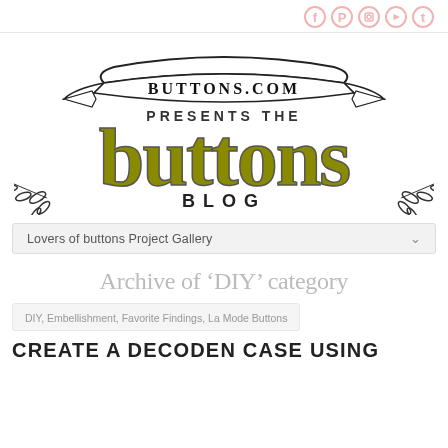Social icons: Facebook, Pinterest, Instagram, YouTube, Tumblr
[Figure (logo): Buttons.com presents the buttons BLOG logo — banner ribbon with BUTTONS.COM text, large decorative serif 'buttons' text in olive/gold, BLOG text with leaf flourishes on either side]
Lovers of buttons Project Gallery
Archive of 'DIY' category
DIY, Embellishment, Favorite Findings, La Mode Buttons
CREATE A DECODEN CASE USING